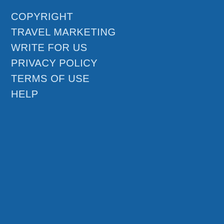COPYRIGHT
TRAVEL MARKETING
WRITE FOR US
PRIVACY POLICY
TERMS OF USE
HELP